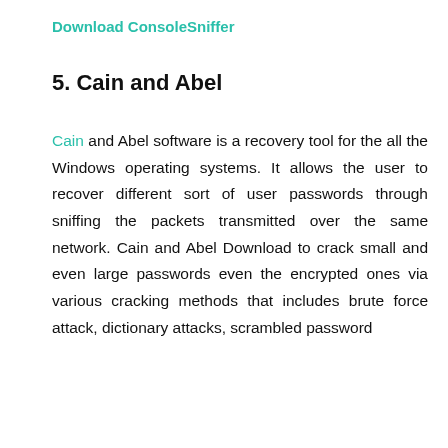Download ConsoleSniffer
5. Cain and Abel
Cain and Abel software is a recovery tool for the all the Windows operating systems. It allows the user to recover different sort of user passwords through sniffing the packets transmitted over the same network. Cain and Abel Download to crack small and even large passwords even the encrypted ones via various cracking methods that includes brute force attack, dictionary attacks, scrambled password